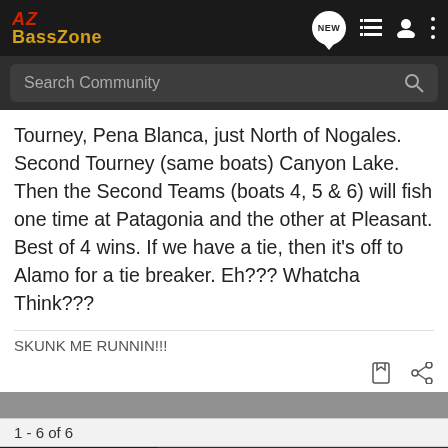AZ BassZone
Tourney, Pena Blanca, just North of Nogales. Second Tourney (same boats) Canyon Lake. Then the Second Teams (boats 4, 5 & 6) will fish one time at Patagonia and the other at Pleasant. Best of 4 wins. If we have a tie, then it's off to Alamo for a tie breaker. Eh??? Whatcha Think???
SKUNK ME RUNNIN!!!
1 - 6 of 6
[Figure (photo): Advertisement banner: people silhouettes on left with red background on right reading YOUR NEW FAVORITE SPORT - EXPLORE HOW TO RESPONSIBLY PARTICIPATE IN THE SHOOTING SPORTS. START HERE!]
This i...